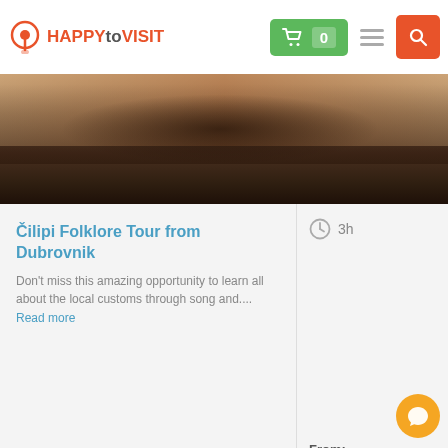HAPPYtoVISIT
[Figure (photo): Aerial or overhead view of dark sandy beach with shadows]
Čilipi Folklore Tour from Dubrovnik
Don't miss this amazing opportunity to learn all about the local customs through song and.... Read more
3h
From: 35.30 € (Per person)
Details
[Figure (photo): Second tour listing card with heart/favorite icon and placeholder photo]